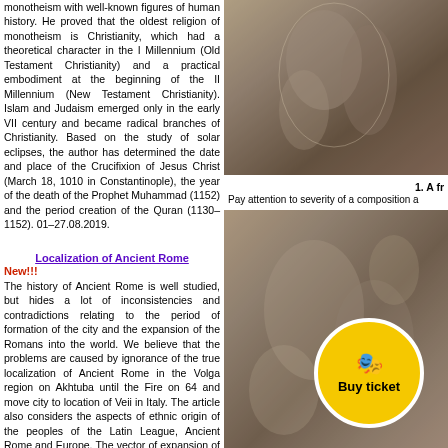monotheism with well-known figures of human history. He proved that the oldest religion of monotheism is Christianity, which had a theoretical character in the I Millennium (Old Testament Christianity) and a practical embodiment at the beginning of the II Millennium (New Testament Christianity). Islam and Judaism emerged only in the early VII century and became radical branches of Christianity. Based on the study of solar eclipses, the author has determined the date and place of the Crucifixion of Jesus Christ (March 18, 1010 in Constantinople), the year of the death of the Prophet Muhammad (1152) and the period creation of the Quran (1130–1152). 01–27.08.2019.
[Figure (photo): Stone sculpture or relief, possibly religious figures, warm brown tones]
1. A fr
Pay attention to severity of a composition a
Localization of Ancient Rome
New!!!
The history of Ancient Rome is well studied, but hides a lot of inconsistencies and contradictions relating to the period of formation of the city and the expansion of the Romans into the world. We believe that the problems are caused by ignorance of the true localization of Ancient Rome in the Volga region on Akhtuba until the Fire on 64 and move city to location of Veii in Italy. The article also considers the aspects of ethnic origin of the peoples of the Latin League, Ancient Rome and Europe. The vector of expansion of Ancient Rome from the Volga region to the Europe coinciding with the migration flows of the Migration Period and the spread of PIE is substantiated. In
[Figure (photo): Stone relief sculpture, Roman or ancient, detailed carved figures in warm brown tones]
[Figure (other): Buy ticket button overlay: yellow circle with ticket icon and text 'Buy ticket']